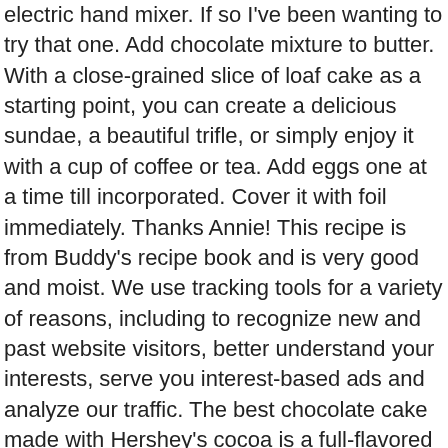electric hand mixer. If so I've been wanting to try that one. Add chocolate mixture to butter. With a close-grained slice of loaf cake as a starting point, you can create a delicious sundae, a beautiful trifle, or simply enjoy it with a cup of coffee or tea. Add eggs one at a time till incorporated. Cover it with foil immediately. Thanks Annie! This recipe is from Buddy's recipe book and is very good and moist. We use tracking tools for a variety of reasons, including to recognize new and past website visitors, better understand your interests, serve you interest-based ads and analyze our traffic. The best chocolate cake made with Hershey's cocoa is a full-flavored chocolate layer cake with a chocolate cream cheese frosting! I agree Jen. Cream butter and sugar in a medium bowl with a portable mixer or a stand mixer. Suggestion: look for another recipe .. 8.Ladle a cup of the hot milk mixture and beat to temper. When I was growing up, my Mama would ask me what kind of cake I wanted for my birthday and every year my answer was the same: CHOCOLATE. I think SeriousCakes also has a shortening based recipe. My birthday is at the end of next